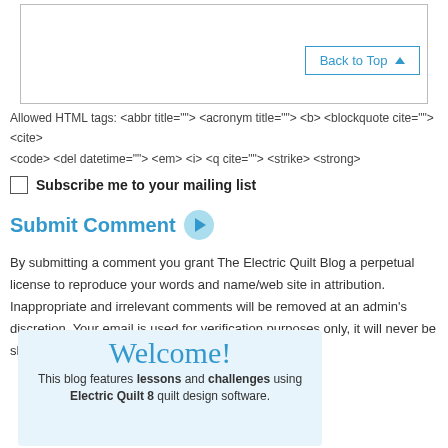[Figure (screenshot): Textarea input box with Back to Top button in top right corner]
Allowed HTML tags: <abbr title=""> <acronym title=""> <b> <blockquote cite=""> <cite> <code> <del datetime=""> <em> <i> <q cite=""> <strike> <strong>
Subscribe me to your mailing list
Submit Comment
By submitting a comment you grant The Electric Quilt Blog a perpetual license to reproduce your words and name/web site in attribution. Inappropriate and irrelevant comments will be removed at an admin's discretion. Your email is used for verification purposes only, it will never be shared without your permission.
[Figure (illustration): Welcome banner for Electric Quilt Blog showing cursive Welcome! heading and text: This blog features lessons and challenges using Electric Quilt 8 quilt design software.]